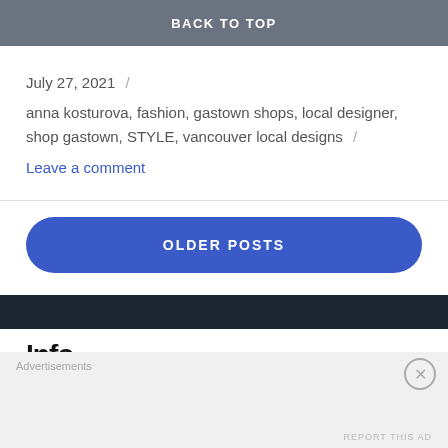BACK TO TOP
July 27, 2021 /
anna kosturova, fashion, gastown shops, local designer, shop gastown, STYLE, vancouver local designs /
Leave a comment
OLDER POSTS
Info
Advertisements